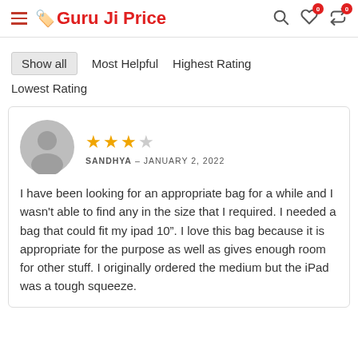Guru Ji Price
Show all
Most Helpful
Highest Rating
Lowest Rating
SANDHYA – JANUARY 2, 2022
3 out of 5 stars
I have been looking for an appropriate bag for a while and I wasn't able to find any in the size that I required. I needed a bag that could fit my ipad 10". I love this bag because it is appropriate for the purpose as well as gives enough room for other stuff. I originally ordered the medium but the iPad was a tough squeeze.